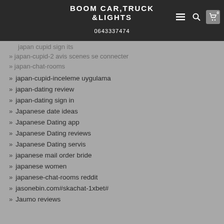BOOM CAR,TRUCK &LIGHTS 0643337474
japan-cupid-inceleme uygulama
japan-dating review
japan-dating sign in
Japanese date ideas
Japanese Dating app
Japanese Dating reviews
Japanese Dating servis
japanese mail order bride
japanese women
japanese-chat-rooms reddit
jasonebin.com#skachat-1xbet#
Jaumo reviews